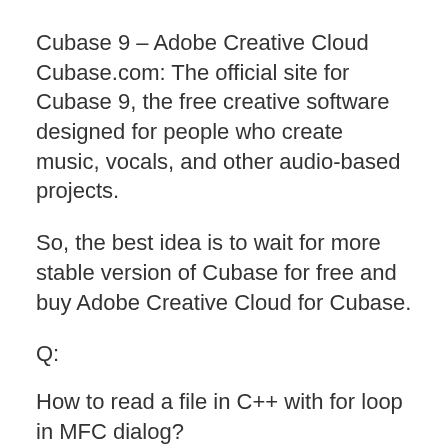Cubase 9 – Adobe Creative Cloud Cubase.com: The official site for Cubase 9, the free creative software designed for people who create music, vocals, and other audio-based projects.
So, the best idea is to wait for more stable version of Cubase for free and buy Adobe Creative Cloud for Cubase.
Q:
How to read a file in C++ with for loop in MFC dialog?
How to read a file by char if the